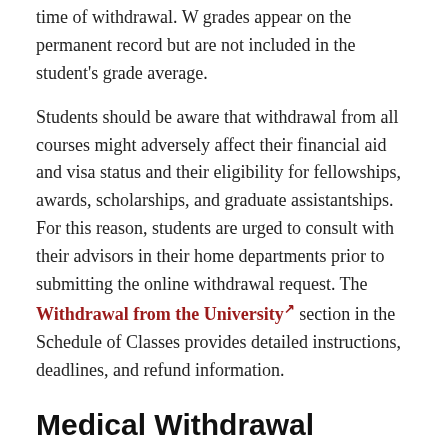time of withdrawal. W grades appear on the permanent record but are not included in the student's grade average.
Students should be aware that withdrawal from all courses might adversely affect their financial aid and visa status and their eligibility for fellowships, awards, scholarships, and graduate assistantships. For this reason, students are urged to consult with their advisors in their home departments prior to submitting the online withdrawal request. The Withdrawal from the University section in the Schedule of Classes provides detailed instructions, deadlines, and refund information.
Medical Withdrawal
Withdrawals filed before the first deadline at the end of the second week of classes (Fall and Spring Semesters), result in cancellation of registration in all courses. Since there is no record of enrollment, the Medical Withdrawal is unnecessary.
Medical withdrawal after the tuition refund deadline (after the